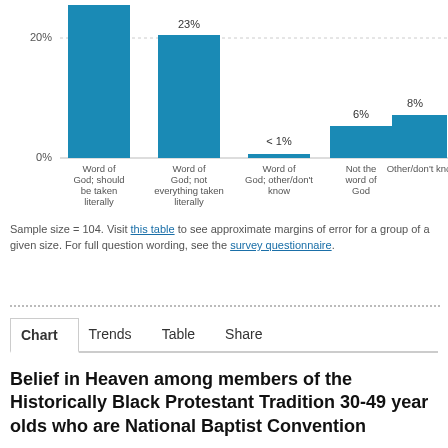[Figure (bar-chart): Views on the Bible]
Sample size = 104. Visit this table to see approximate margins of error for a group of a given size. For full question wording, see the survey questionnaire.
Chart | Trends | Table | Share
Belief in Heaven among members of the Historically Black Protestant Tradition 30-49 year olds who are National Baptist Convention
% of members of the Historically Black Protestant Tradition 30-49 year olds who are National Baptist Convention who...